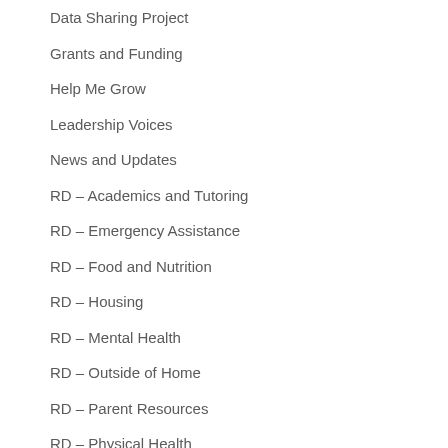Data Sharing Project
Grants and Funding
Help Me Grow
Leadership Voices
News and Updates
RD – Academics and Tutoring
RD – Emergency Assistance
RD – Food and Nutrition
RD – Housing
RD – Mental Health
RD – Outside of Home
RD – Parent Resources
RD – Physical Health